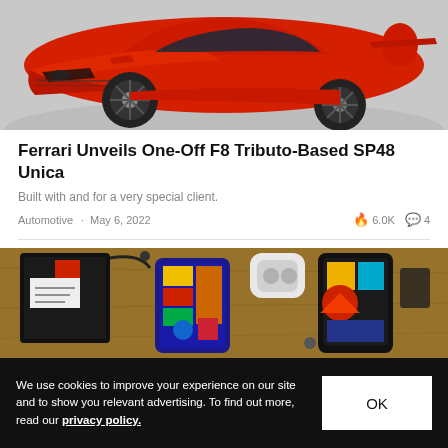[Figure (photo): Red Ferrari SP48 Unica sports car, front-quarter view on a gray surface]
Ferrari Unveils One-Off F8 Tributo-Based SP48 Unica
Built with and for a very special client.
Automotive · May 6, 2022 · 🔥 6.0K 💬 4
[Figure (photo): Colorful phone cases and accessories laid out on a table]
We use cookies to improve your experience on our site and to show you relevant advertising. To find out more, read our privacy policy.